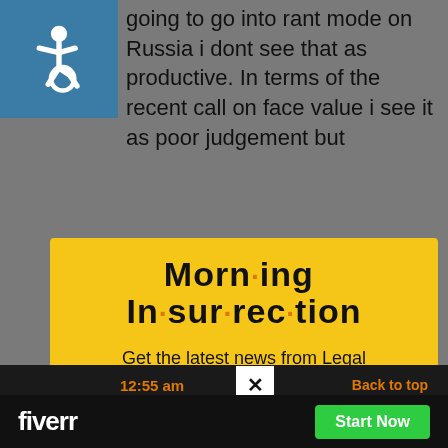going to go into rant mode on Russia i dont see that as productive. In terms of the recent call on face value i see it as poor judgement but
[Figure (illustration): Wheelchair accessibility icon in white on teal/blue square background]
Morn·ing In·sur·rec·tion
Get the latest news from Legal Insurrection, plus exclusive content, direct to your inbox every morning. Subscribe today – it's free!
JOIN NOW
12:55 am
Back to top
fiverr
Start Now